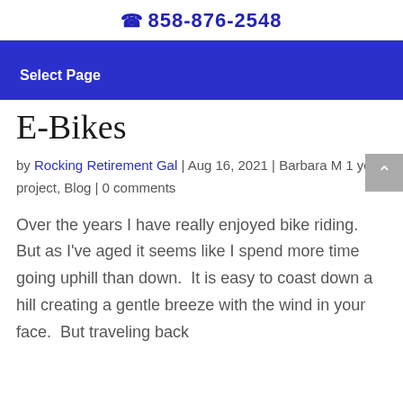858-876-2548
Select Page
E-Bikes
by Rocking Retirement Gal | Aug 16, 2021 | Barbara M 1 year project, Blog | 0 comments
Over the years I have really enjoyed bike riding.  But as I've aged it seems like I spend more time going uphill than down.  It is easy to coast down a hill creating a gentle breeze with the wind in your face.  But traveling back